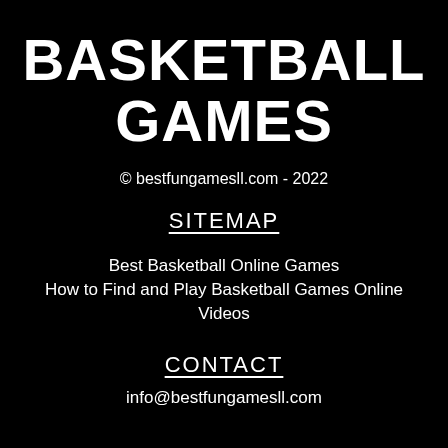BASKETBALL GAMES
© bestfungamesll.com - 2022
SITEMAP
Best Basketball Online Games
How to Find and Play Basketball Games Online
Videos
CONTACT
info@bestfungamesll.com